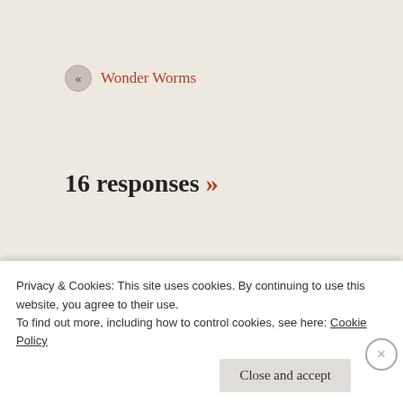« Wonder Worms
16 responses »
Pingback: Chocolate | Family Rules
Steven Baird | September 19, 2015 at 8:58 pm
Privacy & Cookies: This site uses cookies. By continuing to use this website, you agree to their use.
To find out more, including how to control cookies, see here: Cookie Policy
Close and accept